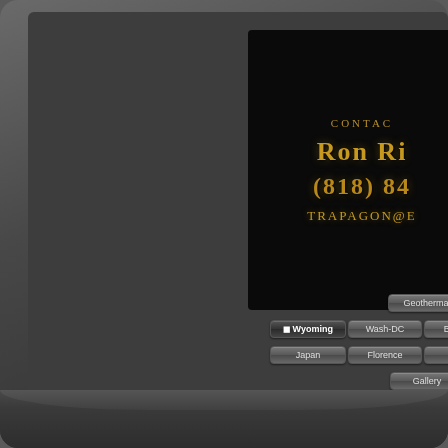[Figure (screenshot): Screenshot of a photography website showing a dark monitor/device frame. The upper right portion displays a black contact panel with gold text showing partial contact information: 'CONTAC', 'Ron Ri', '(818) 84', 'TRAPAGON@E'. Below are navigation menu buttons arranged in rows including: Geothermal, OldFaithful, Asst; Wyoming (active), Wash-DC, Brussels, SF-Muir, Ha; Japan, Florence, Siena, Rome, Bru; Gallery, Wildlife, Scenic; Home, Showcase, Gallery (active).]